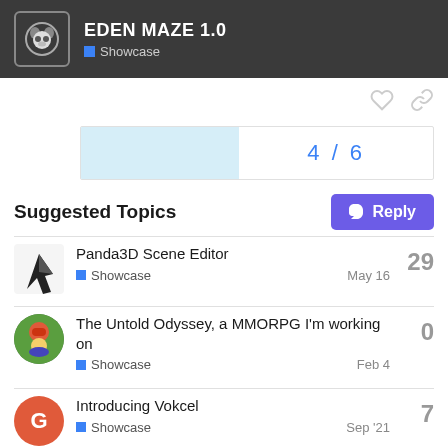EDEN MAZE 1.0 — Showcase
4 / 6
Reply
Suggested Topics
Panda3D Scene Editor — Showcase — May 16 — 29
The Untold Odyssey, a MMORPG I'm working on — Showcase — Feb 4 — 0
Introducing Vokcel — Showcase — Sep '21 — 7
Estranged: my eerie unfinished…